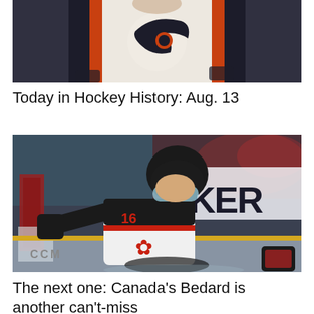[Figure (photo): Philadelphia Flyers player in white jersey with Flyers logo, black and orange striping visible]
Today in Hockey History: Aug. 13
[Figure (photo): Canada hockey player wearing number 16 in Team Canada jersey, celebrating on ice with arm extended, helmet and visor, maple leaf on chest, arena crowd in background, KER advertising board visible]
The next one: Canada's Bedard is another can't-miss